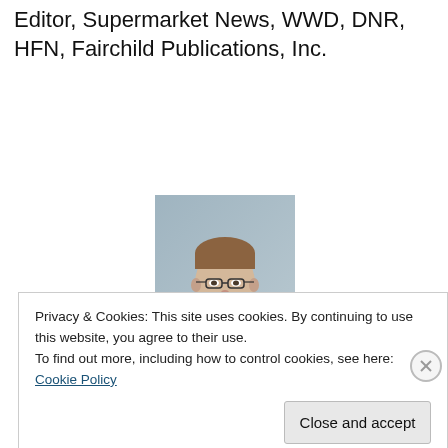Editor, Supermarket News, WWD, DNR, HFN, Fairchild Publications, Inc.
[Figure (photo): Headshot of a man with glasses, brown hair, wearing a white shirt, against a grey-blue background.]
Privacy & Cookies: This site uses cookies. By continuing to use this website, you agree to their use.
To find out more, including how to control cookies, see here: Cookie Policy
Close and accept